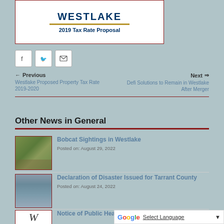[Figure (illustration): Westlake city logo with '2019 Tax Rate Proposal' subtitle inside a red-bordered white box]
[Figure (infographic): Social sharing buttons: Facebook, Twitter, Email]
← Previous
Westlake Proposed Property Tax Rate 2019-2020
Next ⇒
Defi Solutions to Remain in Westlake After Merger
Other News in General
[Figure (photo): Photo of a bobcat in grass]
Bobcat Sightings in Westlake
Posted on: August 29, 2022
[Figure (photo): Photo of flooded road]
Declaration of Disaster Issued for Tarrant County
Posted on: August 24, 2022
[Figure (logo): Westlake cursive W logo]
Notice of Public Hea
Select Language